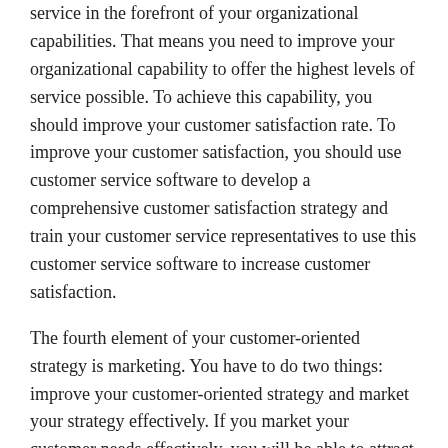service in the forefront of your organizational capabilities. That means you need to improve your organizational capability to offer the highest levels of service possible. To achieve this capability, you should improve your customer satisfaction rate. To improve your customer satisfaction, you should use customer service software to develop a comprehensive customer satisfaction strategy and train your customer service representatives to use this customer service software to increase customer satisfaction.
The fourth element of your customer-oriented strategy is marketing. You have to do two things: improve your customer-oriented strategy and market your strategy effectively. If you market your customer needs effectively, you will be able to attract new customers. If you don't market your strategy effectively, you won't be able to attract new customers.
Finally, the fifth and final element of your customer-oriented